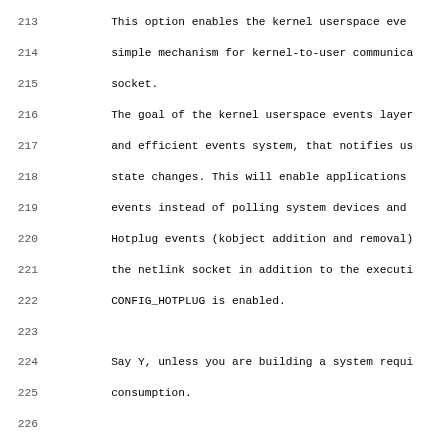213-244: Linux kernel Kconfig source code showing CONFIG_UEVENT_HELPER_PATH, config IKCONFIG, and config IKCONFIG_PROC entries
[Figure (screenshot): Source code listing with line numbers 213-244 showing Linux kernel Kconfig configuration entries for IKCONFIG and IKCONFIG_PROC]